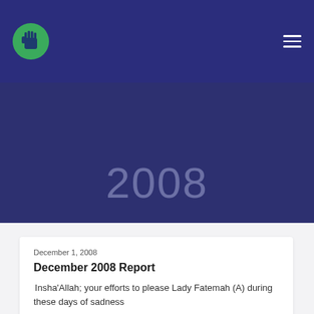[Figure (logo): Green circle logo with a white hand silhouette]
2008
December 1, 2008
December 2008 Report
Insha'Allah; your efforts to please Lady Fatemah (A) during these days of sadness